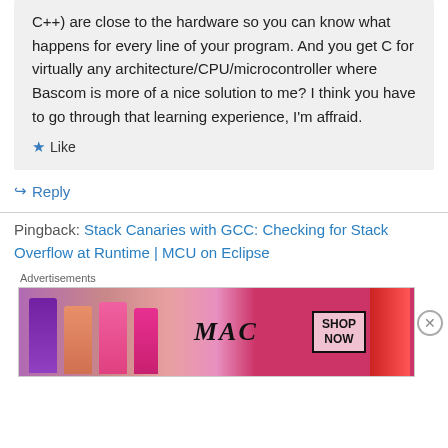C++) are close to the hardware so you can know what happens for every line of your program. And you get C for virtually any architecture/CPU/microcontroller where Bascom is more of a nice solution to me? I think you have to go through that learning experience, I'm affraid.
★ Like
↳ Reply
Pingback: Stack Canaries with GCC: Checking for Stack Overflow at Runtime | MCU on Eclipse
Advertisements
[Figure (photo): MAC cosmetics advertisement showing lipsticks in purple, pink, and red colors with MAC logo and SHOP NOW button]